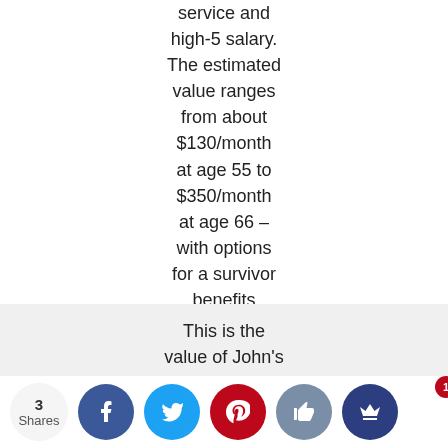years of service and high-5 salary. The estimated value ranges from about $130/month at age 55 to $350/month at age 66 – with options for a survivor benefits election
This is the value of John's contribution could